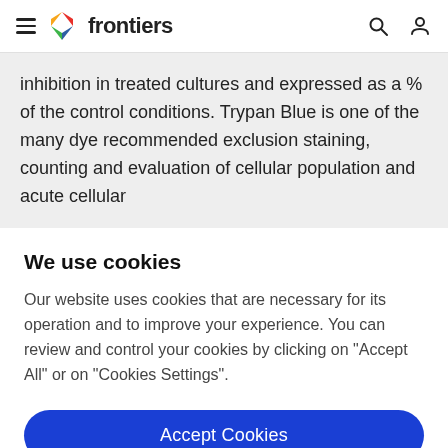frontiers
inhibition in treated cultures and expressed as a % of the control conditions. Trypan Blue is one of the many dye recommended exclusion staining, counting and evaluation of cellular population and acute cellular
We use cookies
Our website uses cookies that are necessary for its operation and to improve your experience. You can review and control your cookies by clicking on "Accept All" or on "Cookies Settings".
Accept Cookies
Cookies Settings